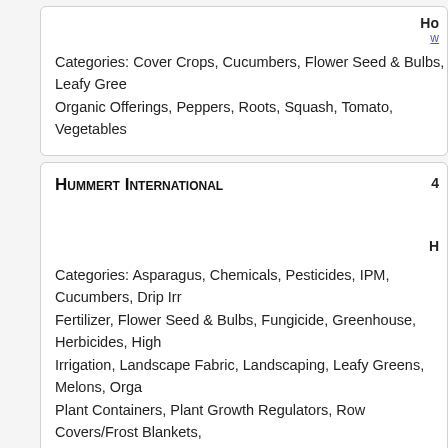Categories: Cover Crops, Cucumbers, Flower Seed & Bulbs, Leafy Greens, Organic Offerings, Peppers, Roots, Squash, Tomato, Vegetables
Hummert International
Categories: Asparagus, Chemicals, Pesticides, IPM, Cucumbers, Drip Irrigation, Fertilizer, Flower Seed & Bulbs, Fungicide, Greenhouse, Herbicides, High Tunnel Irrigation, Landscape Fabric, Landscaping, Leafy Greens, Melons, Organic, Plant Containers, Plant Growth Regulators, Row Covers/Frost Blankets, Staples, T-Posts, Tomato
Johnny's Selected Seeds